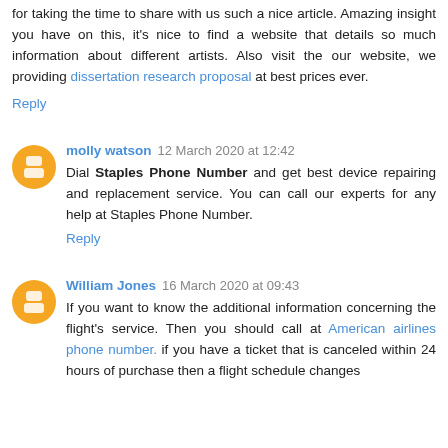for taking the time to share with us such a nice article. Amazing insight you have on this, it's nice to find a website that details so much information about different artists. Also visit the our website, we providing dissertation research proposal at best prices ever.
Reply
molly watson  12 March 2020 at 12:42
Dial Staples Phone Number and get best device repairing and replacement service. You can call our experts for any help at Staples Phone Number.
Reply
William Jones  16 March 2020 at 09:43
If you want to know the additional information concerning the flight's service. Then you should call at American airlines phone number. if you have a ticket that is canceled within 24 hours of purchase then a flight schedule changes